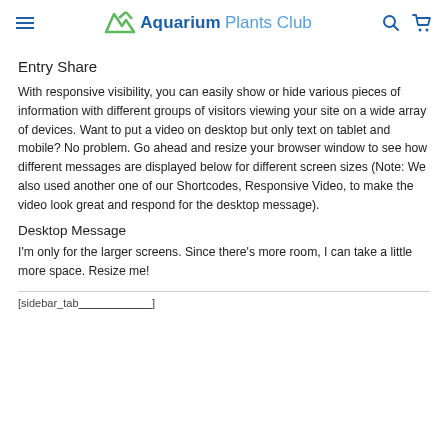Aquarium Plants Club
Entry Share
With responsive visibility, you can easily show or hide various pieces of information with different groups of visitors viewing your site on a wide array of devices. Want to put a video on desktop but only text on tablet and mobile? No problem. Go ahead and resize your browser window to see how different messages are displayed below for different screen sizes (Note: We also used another one of our Shortcodes, Responsive Video, to make the video look great and respond for the desktop message).
Desktop Message
I'm only for the larger screens. Since there's more room, I can take a little more space. Resize me!
[sidebar_tab ... ]